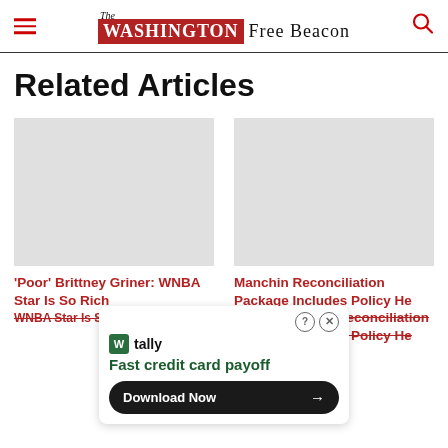The Washington Free Beacon
Related Articles
[Figure (photo): Article image placeholder for 'Poor' Brittney Griner article]
'Poor' Brittney Griner: WNBA Star Is So Rich
[Figure (photo): Article image placeholder for Manchin Reconciliation Package article]
Manchin Reconciliation Package Includes Policy He Called 'Ludicrous'
[Figure (infographic): Tally advertisement overlay: Fast credit card payoff - Download Now button]